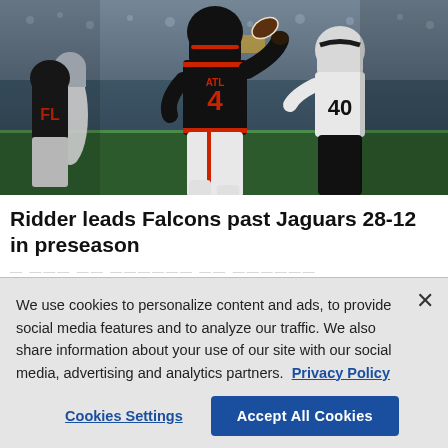[Figure (photo): NFL football action photo showing Atlanta Falcons quarterback #4 dropping back to pass, with Jacksonville Jaguars player #40 rushing in pursuit]
Ridder leads Falcons past Jaguars 28-12 in preseason
We use cookies to personalize content and ads, to provide social media features and to analyze our traffic. We also share information about your use of our site with our social media, advertising and analytics partners. Privacy Policy
Cookies Settings | Accept All Cookies